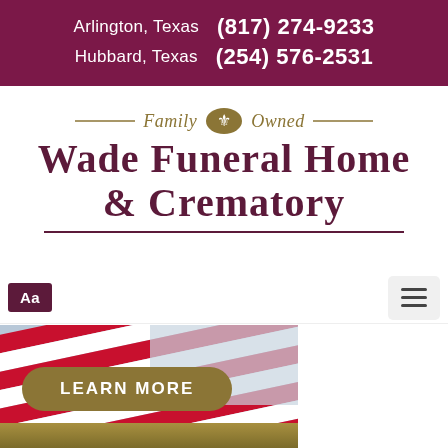Arlington, Texas (817) 274-9233
Hubbard, Texas (254) 576-2531
[Figure (logo): Wade Funeral Home & Crematory logo with Family Owned text and fleur-de-lis emblem]
Aa
[Figure (photo): American flag photo with LEARN MORE button overlay]
[Figure (illustration): Gold bar strip at bottom of page]